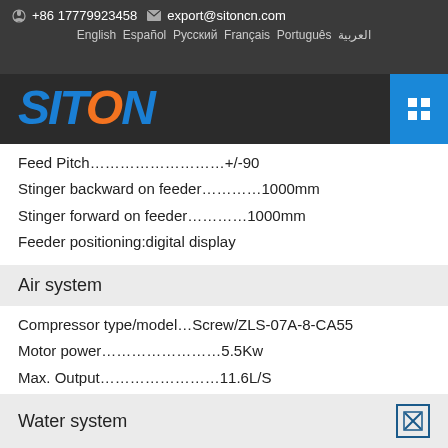+86 17779923458  export@sitoncn.com  English Español Русский Français Português العربية
[Figure (logo): SITON company logo in blue and orange on dark background]
Feed Pitch…………………+/-90
Stinger backward on feeder…………1000mm
Stinger forward on feeder…………1000mm
Feeder positioning:digital display
Air system
Compressor type/model…Screw/ZLS-07A-8-CA55
Motor power……………………5.5Kw
Max. Output……………………11.6L/S
Working pressure……………………8Bar
Water system